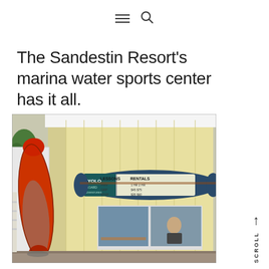≡  🔍
The Sandestin Resort's marina water sports center has it all.
[Figure (photo): A yellow-painted water sports rental building exterior with a surfboard (red and grey) leaning against the left side. A surfboard-shaped sign reading 'YOLO' with 'LESSONS' and 'RENTALS' is mounted above a service window on the building facade.]
SCROLL →